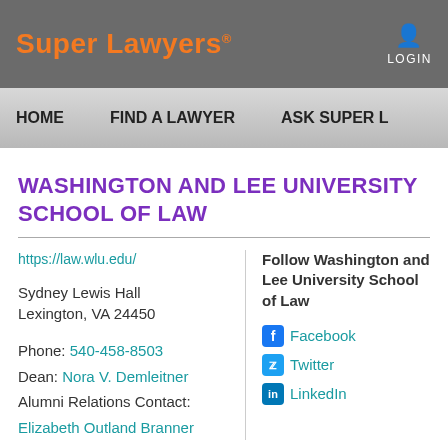Super Lawyers® LOGIN
HOME  FIND A LAWYER  ASK SUPER L
WASHINGTON AND LEE UNIVERSITY SCHOOL OF LAW
https://law.wlu.edu/
Sydney Lewis Hall
Lexington, VA 24450
Phone: 540-458-8503
Dean: Nora V. Demleitner
Alumni Relations Contact:
Elizabeth Outland Branner
Follow Washington and Lee University School of Law
Facebook
Twitter
LinkedIn